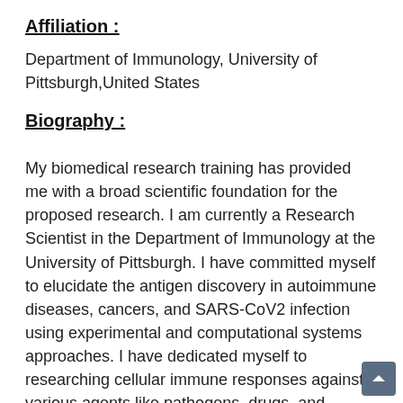Affiliation :
Department of Immunology, University of Pittsburgh,United States
Biography :
My biomedical research training has provided me with a broad scientific foundation for the proposed research. I am currently a Research Scientist in the Department of Immunology at the University of Pittsburgh. I have committed myself to elucidate the antigen discovery in autoimmune diseases, cancers, and SARS-CoV2 infection using experimental and computational systems approaches. I have dedicated myself to researching cellular immune responses against various agents like pathogens, drugs, and diseases over the last